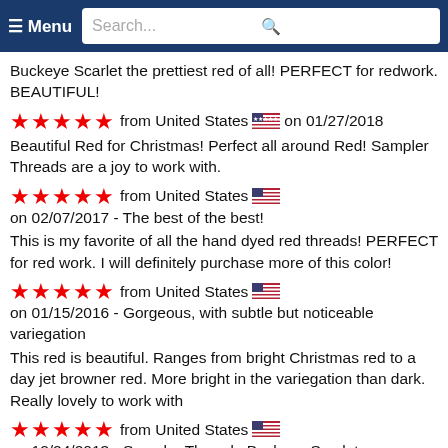Menu | Search...
Buckeye Scarlet the prettiest red of all! PERFECT for redwork. BEAUTIFUL!
★★★★★ from United States 🇺🇸 on 01/27/2018
Beautiful Red for Christmas! Perfect all around Red! Sampler Threads are a joy to work with.
★★★★★ from United States 🇺🇸 on 02/07/2017 - The best of the best!
This is my favorite of all the hand dyed red threads! PERFECT for red work. I will definitely purchase more of this color!
★★★★★ from United States 🇺🇸 on 01/15/2016 - Gorgeous, with subtle but noticeable variegation
This red is beautiful. Ranges from bright Christmas red to a day jet browner red. More bright in the variegation than dark. Really lovely to work with
★★★★★ from United States 🇺🇸 on 12/24/2013 - Sampler Threads-Buckeye Scarlet
I absolutely love working with Sampler Threads. I have ne any problems with these. My favorite color is red and I ca enough fantastic reasons to purchase this color. It is stu like to keep an extra one or two on hand-I never know when I may